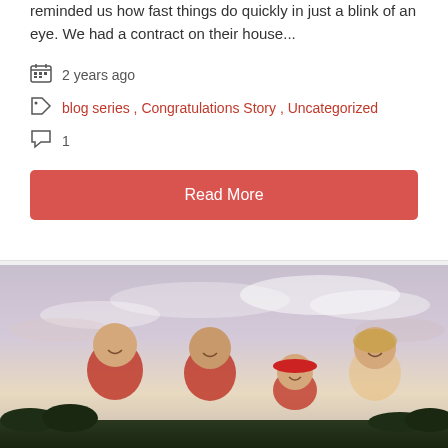reminded us how fast things do quickly in just a blink of an eye. We had a contract on their house...
2 years ago
blog series, Congratulations Story, Uncategorized
1
Read More
[Figure (photo): Outdoor group photo of three adults (two men and one woman wearing a cap) and another woman, smiling outdoors against a cloudy sky background at dusk.]